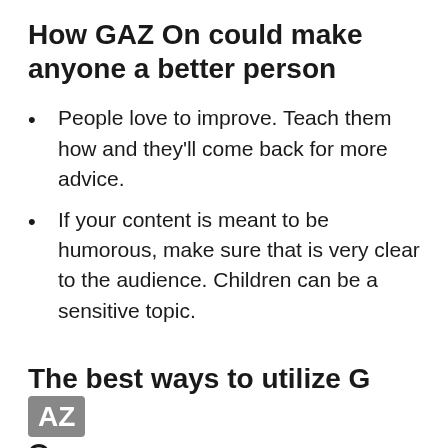How GAZ On could make anyone a better person
People love to improve. Teach them how and they'll come back for more advice.
If your content is meant to be humorous, make sure that is very clear to the audience. Children can be a sensitive topic.
The best ways to utilize GAZ On